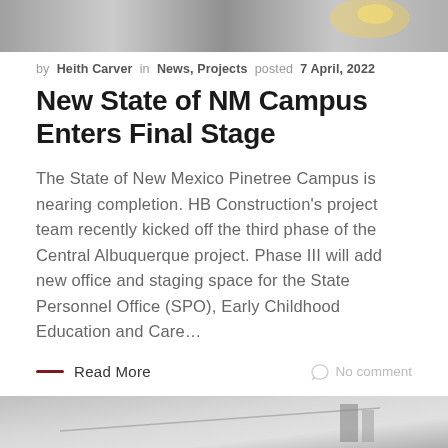[Figure (photo): Partial top image showing a construction or welding scene with sparks, cropped at top of page]
by Heith Carver in News, Projects posted 7 April, 2022
New State of NM Campus Enters Final Stage
The State of New Mexico Pinetree Campus is nearing completion. HB Construction's project team recently kicked off the third phase of the Central Albuquerque project. Phase III will add new office and staging space for the State Personnel Office (SPO), Early Childhood Education and Care...
— Read More    No comment
[Figure (photo): Partial bottom image showing a construction scene, cropped at bottom of page]